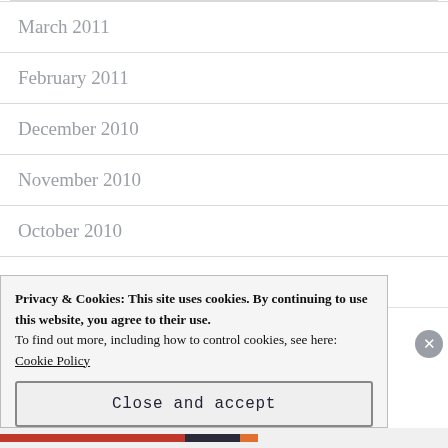March 2011
February 2011
December 2010
November 2010
October 2010
September 2010
August 2010
Privacy & Cookies: This site uses cookies. By continuing to use this website, you agree to their use.
To find out more, including how to control cookies, see here:
Cookie Policy
Close and accept